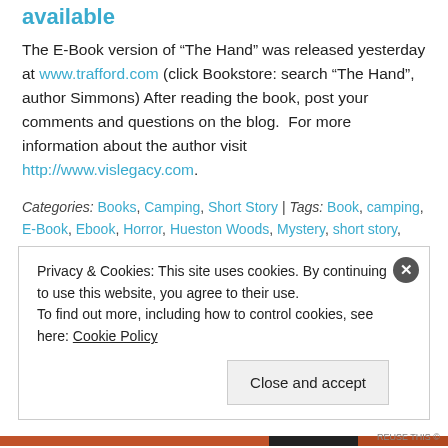available
The E-Book version of “The Hand” was released yesterday at www.trafford.com (click Bookstore: search “The Hand”, author Simmons) After reading the book, post your comments and questions on the blog.  For more information about the author visit http://www.vislegacy.com.
Categories: Books, Camping, Short Story | Tags: Book, camping, E-Book, Ebook, Horror, Hueston Woods, Mystery, short story, Soul | Permalink.
Privacy & Cookies: This site uses cookies. By continuing to use this website, you agree to their use.
To find out more, including how to control cookies, see here: Cookie Policy
Close and accept